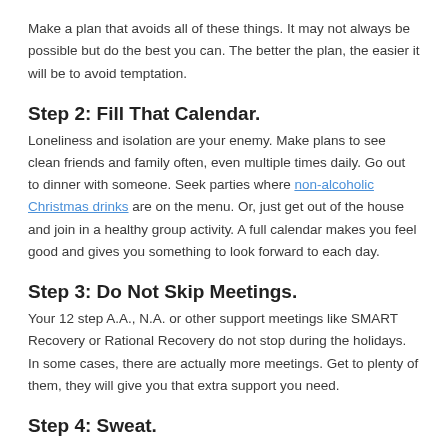Make a plan that avoids all of these things. It may not always be possible but do the best you can. The better the plan, the easier it will be to avoid temptation.
Step 2: Fill That Calendar.
Loneliness and isolation are your enemy. Make plans to see clean friends and family often, even multiple times daily. Go out to dinner with someone. Seek parties where non-alcoholic Christmas drinks are on the menu. Or, just get out of the house and join in a healthy group activity. A full calendar makes you feel good and gives you something to look forward to each day.
Step 3: Do Not Skip Meetings.
Your 12 step A.A., N.A. or other support meetings like SMART Recovery or Rational Recovery do not stop during the holidays. In some cases, there are actually more meetings. Get to plenty of them, they will give you that extra support you need.
Step 4: Sweat.
I do not care what type of exercise you prefer, just do it. Run, play sport, walk the dog, climb a tree (not the one at the center of town with all the